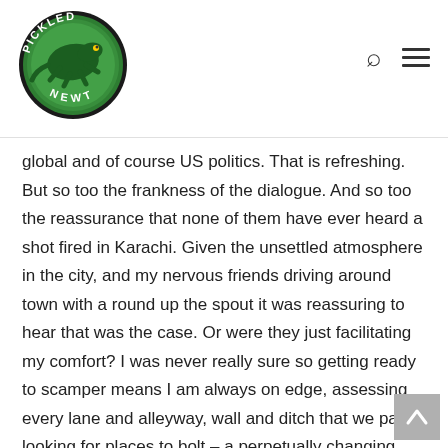[Figure (logo): Pickled Newt website logo — circular badge with green lizard/newt illustration and text 'PICKLED NEWT' around the border]
global and of course US politics. That is refreshing. But so too the frankness of the dialogue. And so too the reassurance that none of them have ever heard a shot fired in Karachi. Given the unsettled atmosphere in the city, and my nervous friends driving around town with a round up the spout it was reassuring to hear that was the case. Or were they just facilitating my comfort? I was never really sure so getting ready to scamper means I am always on edge, assessing every lane and alleyway, wall and ditch that we pass looking for places to bolt – a perpetually changing escape plan forever unfolding in my head. Even, but especially when I am travelling in the dark with friends.